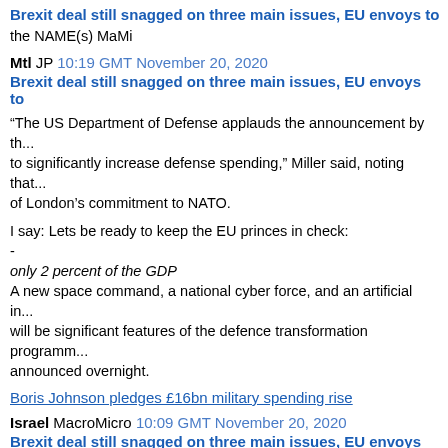Brexit deal still snagged on three main issues, EU envoys to...
the NAME(s) MaMi
Mtl JP 10:19 GMT November 20, 2020
Brexit deal still snagged on three main issues, EU envoys to...
“The US Department of Defense applauds the announcement by th... to significantly increase defense spending,” Miller said, noting that... of London’s commitment to NATO.
I say: Lets be ready to keep the EU princes in check:
-
only 2 percent of the GDP
A new space command, a national cyber force, and an artificial in... will be significant features of the defence transformation programm... announced overnight.
Boris Johnson pledges £16bn military spending rise
Israel MacroMicro 10:09 GMT November 20, 2020
Brexit deal still snagged on three main issues, EU envoys to...
can you define dump with levels?
tia
AT Trader john 10:08 GMT November 20, 2020
Friday Amazing Trader 20 November 2020
Personal Observations.
The immediate focus today on Friday is on what might look out...